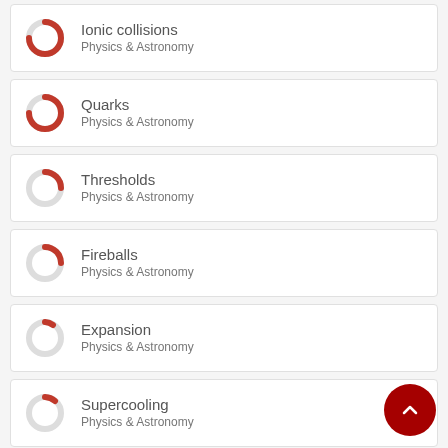Ionic collisions
Physics & Astronomy
Quarks
Physics & Astronomy
Thresholds
Physics & Astronomy
Fireballs
Physics & Astronomy
Expansion
Physics & Astronomy
Supercooling
Physics & Astronomy
Gluons
Physics & Astronomy